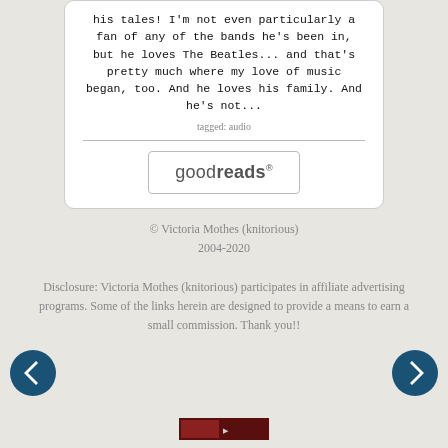his tales! I'm not even particularly a fan of any of the bands he's been in, but he loves The Beatles... and that's pretty much where my love of music began, too. And he loves his family. And he's not...
tagged: audio
[Figure (logo): goodreads logo button with rounded rectangle border]
© Victoria Mothes (knitorious) 2004-2020
Disclosure: Victoria Mothes (knitorious) participates in affiliate advertising programs. Some of the links herein are designed to provide a means to earn a small commission. Thank you!!
[Figure (other): Left navigation arrow circle button (dark teal/navy)]
[Figure (other): Right navigation arrow circle button (dark teal/navy)]
[Figure (logo): FeedBurner logo badge — dark red bar with BY FEEDBURNER text]